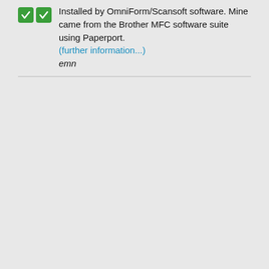Installed by OmniForm/Scansoft software. Mine came from the Brother MFC software suite using Paperport. (further information...) emn